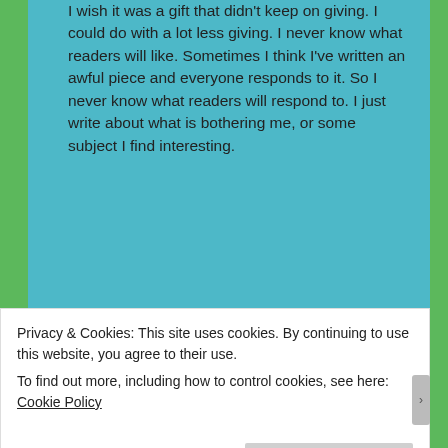I wish it was a gift that didn't keep on giving. I could do with a lot less giving. I never know what readers will like. Sometimes I think I've written an awful piece and everyone responds to it. So I never know what readers will respond to. I just write about what is bothering me, or some subject I find interesting.
👍 0 👎 0 ℹ Rate This
Log in to Reply
vicky4532217 says:
Privacy & Cookies: This site uses cookies. By continuing to use this website, you agree to their use.
To find out more, including how to control cookies, see here: Cookie Policy
Close and accept